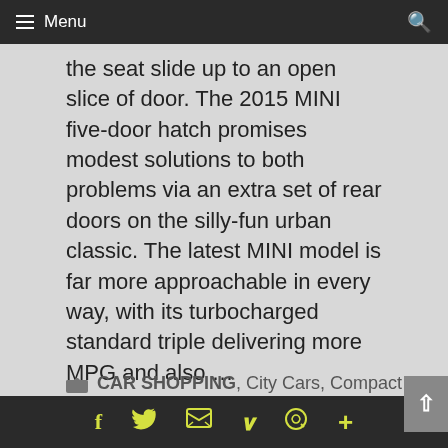≡ Menu
the seat slide up to an open slice of door. The 2015 MINI five-door hatch promises modest solutions to both problems via an extra set of rear doors on the silly-fun urban classic. The latest MINI model is far more approachable in every way, with its turbocharged standard triple delivering more MPG and also …
Keep reading
CAR SHOPPING, City Cars, Compact Cars, Euro Cars, Fun Car Gifs, Fun Car GIFs, Fun Cars, Future Cars / Rumors / Renderings, LATEST NEWS, LEDetails, NEW CARS, Sports Cars, Tom Burkart, Wallpapers
f  Twitter  Email  Pinterest  WhatsApp  +